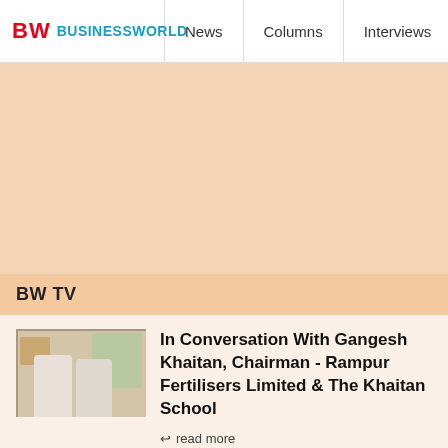BW BUSINESSWORLD | News | Columns | Interviews | BW
[Figure (other): Large banner/advertisement area with peach/salmon background color]
BW TV
[Figure (photo): Thumbnail image showing two people in conversation seated with artwork/paintings in background]
In Conversation With Gangesh Khaitan, Chairman - Rampur Fertilisers Limited & The Khaitan School
read more